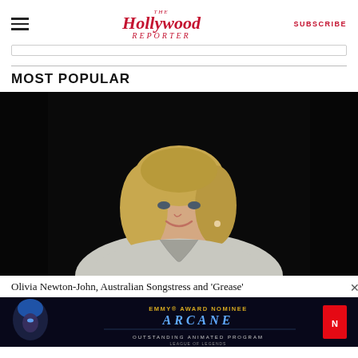The Hollywood Reporter — SUBSCRIBE
MOST POPULAR
[Figure (photo): Portrait of Olivia Newton-John, a blonde woman smiling, wearing a grey jacket, photographed against a dark background.]
Olivia Newton-John, Australian Songstress and 'Grease'
[Figure (screenshot): Advertisement banner for Arcane: League of Legends — 'EMMY AWARD NOMINEE — ARCANE — OUTSTANDING ANIMATED PROGRAM' on Netflix, featuring a stylized blue-haired female character.]